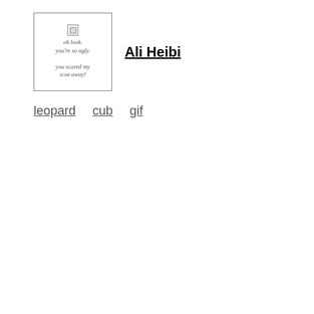[Figure (illustration): A broken image placeholder box with a small crossed image icon and italic text reading 'oh look. you're so ugly. you scared my icon away!']
Ali Heibi
leopard   cub   gif